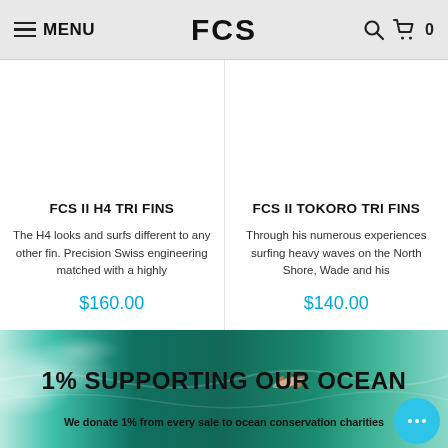MENU | FCS | [search] [cart] 0
FCS II H4 TRI FINS
The H4 looks and surfs different to any other fin. Precision Swiss engineering matched with a highly
$160.00
FCS II TOKORO TRI FINS
Through his numerous experiences surfing heavy waves on the North Shore, Wade and his
$140.00
[Figure (photo): Aerial view of a person surfing in clear teal ocean water]
1% SUPPORTING OUR OCEAN
We donate 1% from every sale to ocean conservation charities